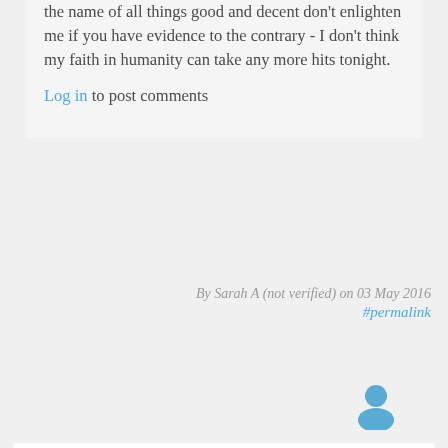the name of all things good and decent don't enlighten me if you have evidence to the contrary - I don't think my faith in humanity can take any more hits tonight.
Log in to post comments
By Sarah A (not verified) on 03 May 2016
#permalink
[Figure (illustration): User avatar icon in blue/teal color]
Molly: Abortion rights has been settled law for over 40 years. Most Americans don't really care about changing that.
Legal, yes. Accessible, no. So rights can be legislated out of existence without a lot of people noticing. I suggest you see how 'legal' abortion is in Kansas or Texas. The same thing applies to suffrage, and for that matter, rape. Heck, rape is legal in Oklahoma now.
I We a powerful civilized state hereby keeping the